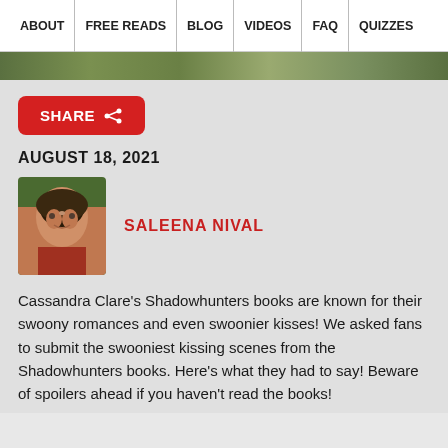ABOUT | FREE READS | BLOG | VIDEOS | FAQ | QUIZZES
[Figure (photo): Hero banner image strip showing outdoor scene]
SHARE
AUGUST 18, 2021
[Figure (photo): Author photo of Saleena Nival, a young woman with curly hair and glasses, wearing a red top]
SALEENA NIVAL
Cassandra Clare's Shadowhunters books are known for their swoony romances and even swoonier kisses! We asked fans to submit the swooniest kissing scenes from the Shadowhunters books. Here's what they had to say! Beware of spoilers ahead if you haven't read the books!